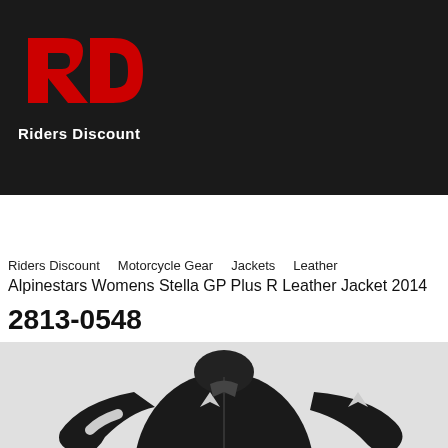[Figure (logo): Riders Discount logo – red stylized 'RD' letters on dark background, with 'Riders Discount' text below]
[Figure (screenshot): Navigation bar with hamburger menu button (red), search button (red), Sign In link, and shopping cart with count 0]
Riders Discount   Motorcycle Gear   Jackets   Leather
Alpinestars Womens Stella GP Plus R Leather Jacket 2014
2813-0548
[Figure (photo): Black and white Alpinestars women's leather motorcycle jacket (Stella GP Plus R) with Alpinestars star logo on chest and sleeve, shown from front angle]